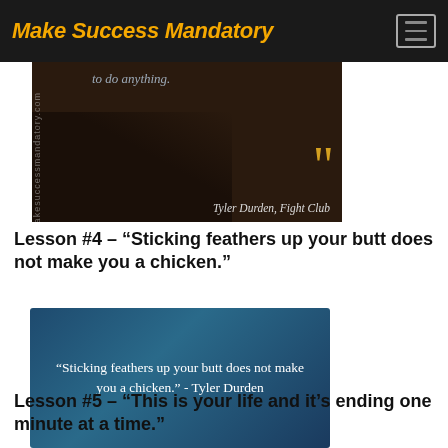Make Success Mandatory
[Figure (photo): Dark movie scene with a quote overlaid: 'to do anything.' with large quotation marks, attributed to Tyler Durden, Fight Club. Watermark visible on left side.]
Lesson #4 – “Sticking feathers up your butt does not make you a chicken.”
[Figure (photo): Blue gradient quote card with white text reading: "Sticking feathers up your butt does not make you a chicken." - Tyler Durden]
Lesson #5 – “This is your life and it’s ending one minute at a time.”